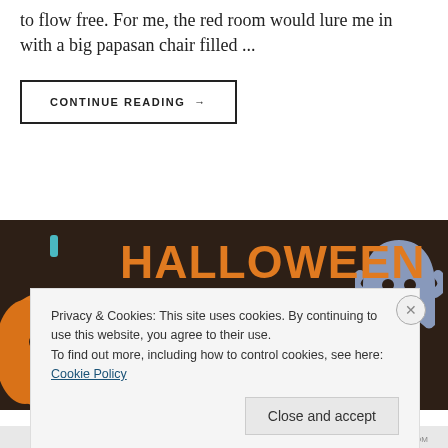to flow free. For me, the red room would lure me in with a big papasan chair filled ...
CONTINUE READING →
[Figure (illustration): Halloween watchlist banner with dark brown background, orange bold text reading HALLOWEEN WATCHLIST, a pumpkin illustration on the left and a ghost illustration on the right]
Privacy & Cookies: This site uses cookies. By continuing to use this website, you agree to their use.
To find out more, including how to control cookies, see here: Cookie Policy
Close and accept